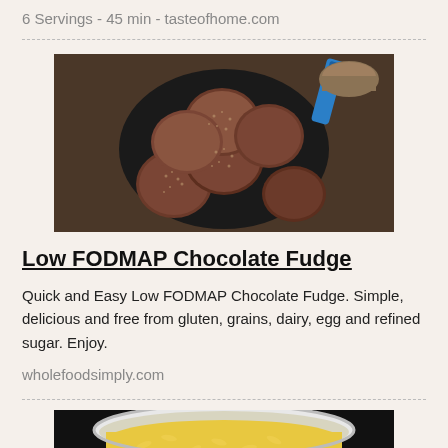6 Servings - 45 min - tasteofhome.com
[Figure (photo): Overhead view of chocolate fudge discs arranged on a dark round plate with sesame seeds, on a dark wooden surface with a blue can opener]
Low FODMAP Chocolate Fudge
Quick and Easy Low FODMAP Chocolate Fudge. Simple, delicious and free from gluten, grains, dairy, egg and refined sugar. Enjoy.
wholefoodsimply.com
[Figure (photo): Bowl of yellow rice dish, partially visible at bottom of page]